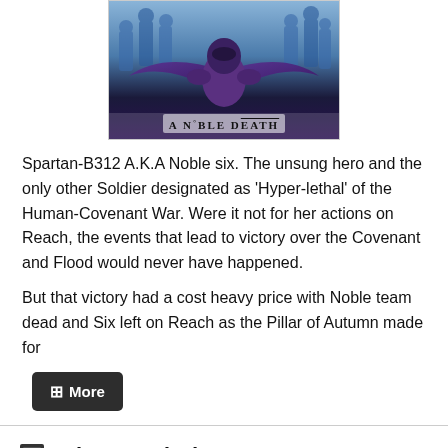[Figure (illustration): Cover art for 'A Noble Death' showing a purple-winged armored figure (Spartan) from Halo, surrounded by blue-lit soldiers/Elite in the background. Text 'A Noble Death' appears at the bottom of the image.]
Spartan-B312 A.K.A Noble six. The unsung hero and the only other Soldier designated as 'Hyper-lethal' of the Human-Covenant War. Were it not for her actions on Reach, the events that lead to victory over the Covenant and Flood would never have happened.
But that victory had a cost heavy price with Noble team dead and Six left on Reach as the Pillar of Autumn made for
Chapters (46)
Chapter 1